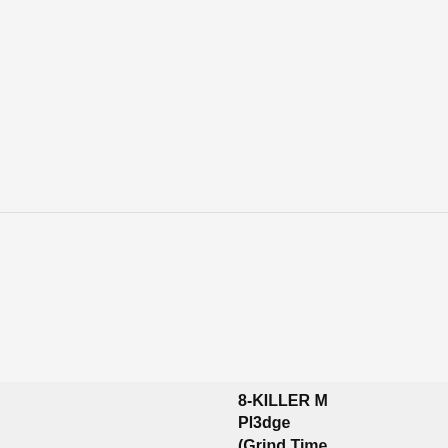[Figure (screenshot): Video thumbnail showing a person in a dark setting with a Vevo logo watermark in white on the left side, with a black bar at the bottom]
9-MELLOW
BlackenedW
(Fat Possum
8-KILLER M
Pl3dge
(Grind Time